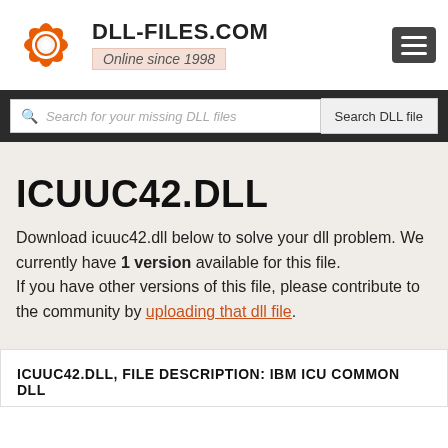[Figure (logo): DLL-Files.com logo with orange gear/lifesaver icon, site name DLL-FILES.COM and tagline Online since 1998]
[Figure (other): Hamburger menu icon (three horizontal white lines on dark gray background)]
Search for your missing DLL files
Search DLL file
ICUUC42.DLL
Download icuuc42.dll below to solve your dll problem. We currently have 1 version available for this file.
If you have other versions of this file, please contribute to the community by uploading that dll file.
ICUUC42.DLL, FILE DESCRIPTION: IBM ICU COMMON DLL